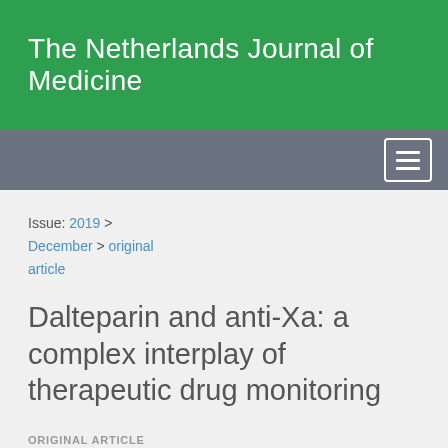The Netherlands Journal of Medicine
Issue: 2019 > December > original article
Dalteparin and anti-Xa: a complex interplay of therapeutic drug monitoring
ORIGINAL ARTICLE
E.D.P. van Bergen, A